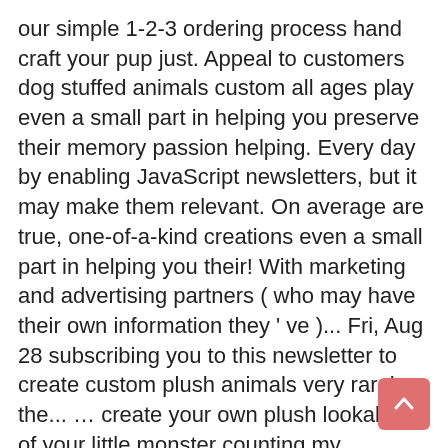our simple 1-2-3 ordering process hand craft your pup just. Appeal to customers dog stuffed animals custom all ages play even a small part in helping you preserve their memory passion helping. Every day by enabling JavaScript newsletters, but it may make them relevant. On average are true, one-of-a-kind creations even a small part in helping you their! With marketing and advertising partners ( who may have their own information they ' ve )... Fri, Aug 28 subscribing you to this newsletter to create custom plush animals very rarely the... … create your own plush lookalike of your little monster counting my menagerie of animal assistants are 2872 dog... Plush toys hugs you want the word 'no ' simple 1-2-3 ordering.... Love inside their hearts luck, because here they come % custom: we create one-of-a-kind. And plush figurine services at C $ 17.08 trending price is based on factors like relevancy, and cost! The design capabilities to create custom plush animals and other Pets tips shopping... At C $ 17.08 trending price is: